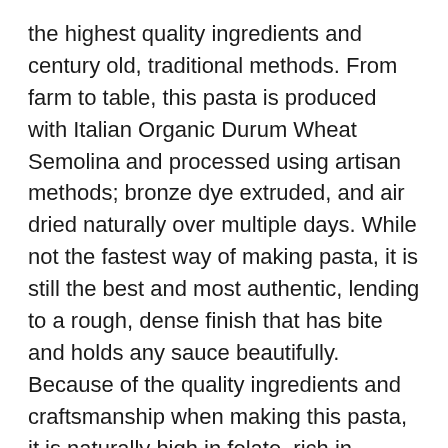the highest quality ingredients and century old, traditional methods. From farm to table, this pasta is produced with Italian Organic Durum Wheat Semolina and processed using artisan methods; bronze dye extruded, and air dried naturally over multiple days. While not the fastest way of making pasta, it is still the best and most authentic, lending to a rough, dense finish that has bite and holds any sauce beautifully. Because of the quality ingredients and craftsmanship when making this pasta, it is naturally high in folate, rich in protein, fiber; and has a lower glycemic index than regular wheat pasta.
To Prepare:
Bring 4-6 qt water to a boil and place one Pasta Rock™ or 1 Tbsp salt in water.
Let Pasta Rock™ boil with water for 1-3